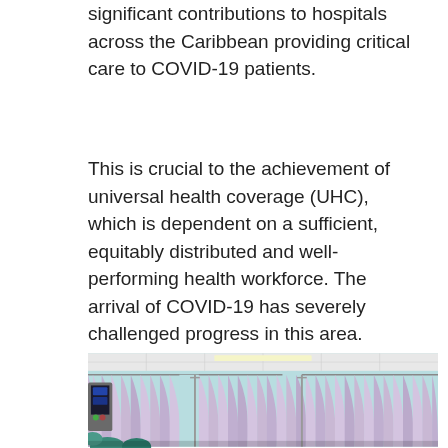significant contributions to hospitals across the Caribbean providing critical care to COVID-19 patients.
This is crucial to the achievement of universal health coverage (UHC), which is dependent on a sufficient, equitably distributed and well-performing health workforce. The arrival of COVID-19 has severely challenged progress in this area.
[Figure (photo): Interior of a hospital ward with light blue walls, purple/lavender privacy curtains hanging from ceiling rails, medical equipment visible on the left side including what appears to be monitors or machines, IV poles, and teal/green colored objects in the foreground.]